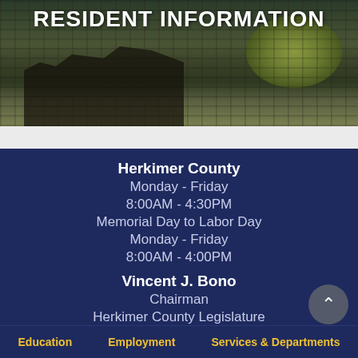[Figure (photo): Aerial or elevated photo of an old industrial or railway structure with dark concrete beams and foliage, with white text overlay reading RESIDENT INFORMATION]
RESIDENT INFORMATION
Herkimer County
Monday - Friday
8:00AM - 4:30PM

Memorial Day to Labor Day
Monday - Friday
8:00AM - 4:00PM

Vincent J. Bono
Chairman
Herkimer County Legislature
Education   Employment   Services & Departments